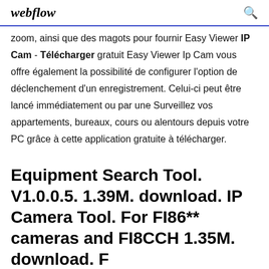webflow
zoom, ainsi que des magots pour fournir Easy Viewer IP Cam - Télécharger gratuit Easy Viewer Ip Cam vous offre également la possibilité de configurer l'option de déclenchement d'un enregistrement. Celui-ci peut être lancé immédiatement ou par une Surveillez vos appartements, bureaux, cours ou alentours depuis votre PC grâce à cette application gratuite à télécharger.
Equipment Search Tool. V1.0.0.5. 1.39M. download. IP Camera Tool. For FI86** cameras and FI8CCH 1.35M. download. F...